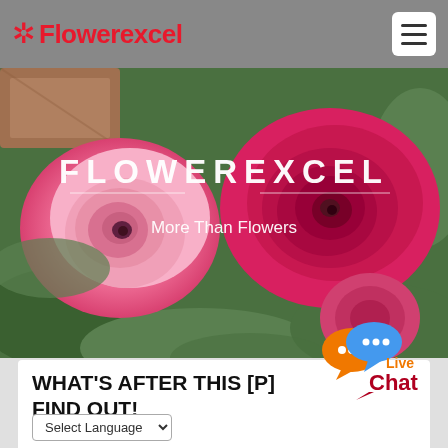Flowerexcel
[Figure (photo): Close-up photo of pink and magenta ranunculus flowers with green foliage background, with overlaid text FLOWEREXCEL and More Than Flowers]
FLOWEREXCEL
More Than Flowers
[Figure (logo): Live Chat badge with orange and blue speech bubbles, text reading Live Chat in orange and dark red]
WHAT'S AFTER THIS [P] FIND OUT!
Select Language